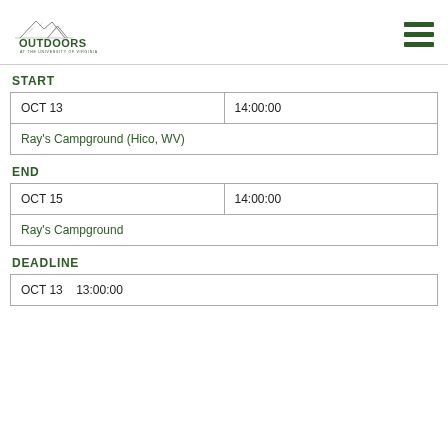OUTDOORS AT THE UNIVERSITY OF VIRGINIA
START
| OCT 13 | 14:00:00 |
| Ray's Campground (Hico, WV) |  |
END
| OCT 15 | 14:00:00 |
| Ray's Campground |  |
DEADLINE
| OCT 13    13:00:00 |  |